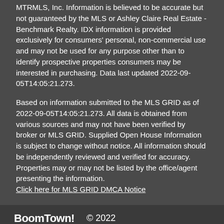MTRMLS, Inc. Information is believed to be accurate but not guaranteed by the MLS or Ashley Claire Real Estate - Benchmark Realty. IDX information is provided exclusively for consumers' personal, non-commercial use and may not be used for any purpose other than to identify prospective properties consumers may be interested in purchasing. Data last updated 2022-09-05T14:05:21.273.
Based on information submitted to the MLS GRID as of 2022-09-05T14:05:21.273. All data is obtained from various sources and may not have been verified by broker or MLS GRID. Supplied Open House Information is subject to change without notice. All information should be independently reviewed and verified for accuracy. Properties may or may not be listed by the office/agent presenting the information.
Click here for MLS GRID DMCA Notice
BoomTown! © 2022 | Terms of Use | Privacy Policy | Accessibility | DMCA | Listings Sitemap